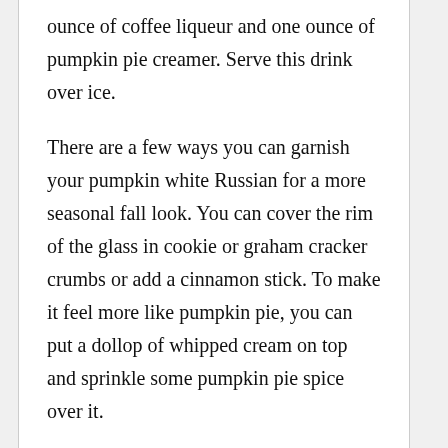ounce of coffee liqueur and one ounce of pumpkin pie creamer. Serve this drink over ice.
There are a few ways you can garnish your pumpkin white Russian for a more seasonal fall look. You can cover the rim of the glass in cookie or graham cracker crumbs or add a cinnamon stick. To make it feel more like pumpkin pie, you can put a dollop of whipped cream on top and sprinkle some pumpkin pie spice over it.
Apple Cider Hot Toddy
In terms of beloved fall flavors, apple is right up